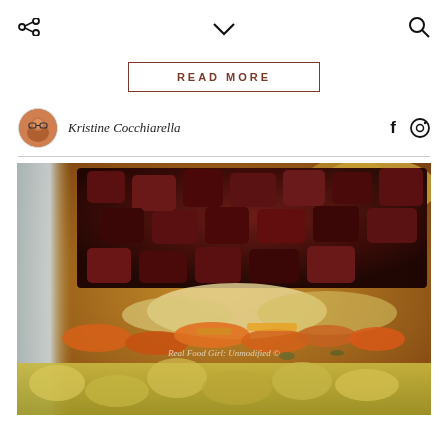share / chevron / search icons
READ MORE
Kristine Cocchiarella
[Figure (photo): Close-up photo of a sheet pan of roasted vegetables including dark red beets, orange carrots, cauliflower, and other colorful vegetables with a watermark reading 'Real Food Girl: Unmodified']